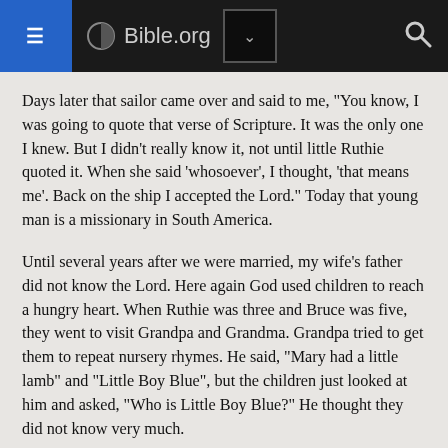Bible.org
Days later that sailor came over and said to me, "You know, I was going to quote that verse of Scripture. It was the only one I knew. But I didn't really know it, not until little Ruthie quoted it. When she said 'whosoever', I thought, 'that means me'. Back on the ship I accepted the Lord." Today that young man is a missionary in South America.
Until several years after we were married, my wife's father did not know the Lord. Here again God used children to reach a hungry heart. When Ruthie was three and Bruce was five, they went to visit Grandpa and Grandma. Grandpa tried to get them to repeat nursery rhymes. He said, "Mary had a little lamb" and "Little Boy Blue", but the children just looked at him and asked, "Who is Little Boy Blue?" He thought they did not know very much.